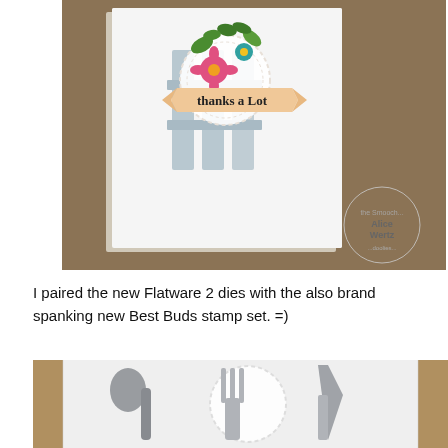[Figure (photo): A handmade greeting card featuring a white card base with a fence die cut, a lace doily, and colorful flowers and leaves stamp art. A banner reads 'thanks a lot' in handwritten style. Watermark 'Alice Wertz' visible in bottom right corner. Brown/taupe background behind the card.]
I paired the new Flatware 2 dies with the also brand spanking new Best Buds stamp set. =)
[Figure (photo): Close-up of die-cut flatware (fork, spoon, knife) in gray/silver tones on a white embossed card, with lace doily detail, against a tan/kraft paper background.]